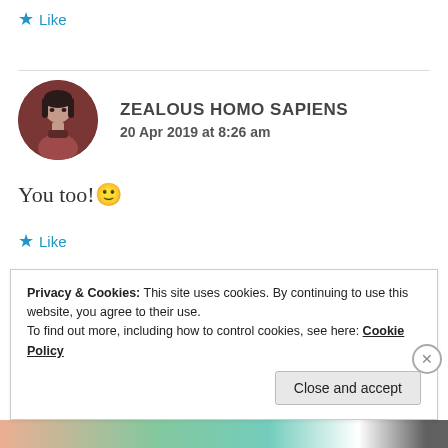★ Like
ZEALOUS HOMO SAPIENS
20 Apr 2019 at 8:26 am
You too! 🙂
★ Like
Privacy & Cookies: This site uses cookies. By continuing to use this website, you agree to their use.
To find out more, including how to control cookies, see here: Cookie Policy
Close and accept